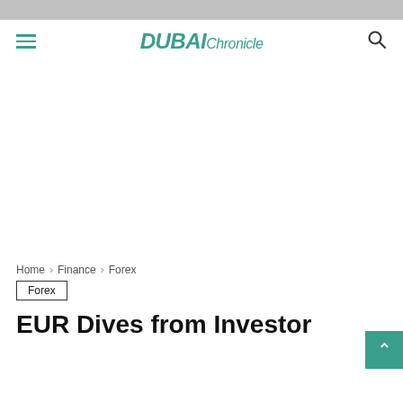DUBAI Chronicle
Home › Finance › Forex
Forex
EUR Dives from Investor